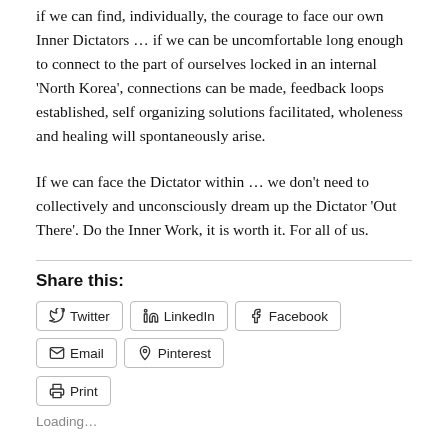if we can find, individually, the courage to face our own Inner Dictators … if we can be uncomfortable long enough to connect to the part of ourselves locked in an internal 'North Korea', connections can be made, feedback loops established, self organizing solutions facilitated, wholeness and healing will spontaneously arise.
If we can face the Dictator within … we don't need to collectively and unconsciously dream up the Dictator 'Out There'. Do the Inner Work, it is worth it. For all of us.
Share this:
Twitter  LinkedIn  Facebook  Email  Pinterest  Print
Loading...